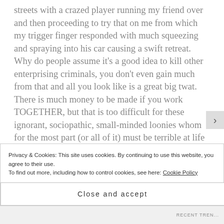streets with a crazed player running my friend over and then proceeding to try that on me from which my trigger finger responded with much squeezing and spraying into his car causing a swift retreat. Why do people assume it's a good idea to kill other enterprising criminals, you don't even gain much from that and all you look like is a great big twat. There is much money to be made if you work TOGETHER, but that is too difficult for these ignorant, sociopathic, small-minded loonies whom for the most part (or all of it) must be terrible at life and are failing at it miserably on a drug covered
Privacy & Cookies: This site uses cookies. By continuing to use this website, you agree to their use.
To find out more, including how to control cookies, see here: Cookie Policy
Close and accept